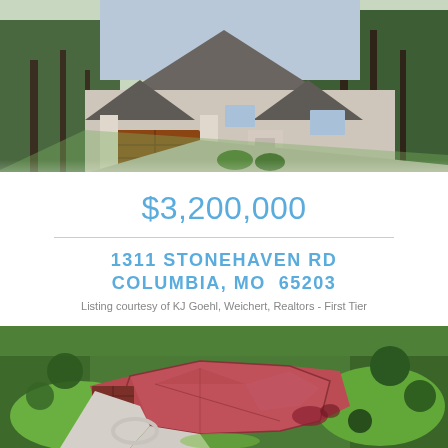[Figure (photo): Exterior front view of a large stone and brick house with dark brown garage door, surrounded by tall trees and green lawn on a sunny day]
$3,200,000
1311 STONEHAVEN RD
COLUMBIA, MO  65203
Listing courtesy of KJ Goehl, Weichert, Realtors - First Tier
[Figure (photo): Aerial drone view of a large brick estate home with multiple roof peaks, circular driveway, three-car garage, surrounded by lush green trees and landscaping]